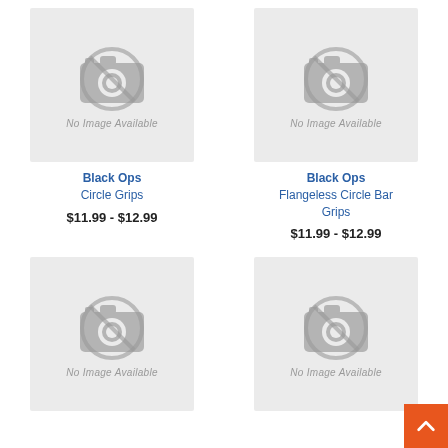[Figure (photo): No image available placeholder for Black Ops Circle Grips]
Black Ops Circle Grips
$11.99 - $12.99
[Figure (photo): No image available placeholder for Black Ops Flangeless Circle Bar Grips]
Black Ops Flangeless Circle Bar Grips
$11.99 - $12.99
[Figure (photo): No image available placeholder (bottom left)]
[Figure (photo): No image available placeholder (bottom right)]